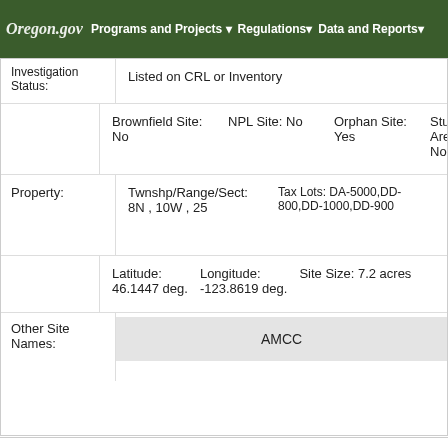Oregon.gov | Programs and Projects | Regulations | Data and Reports
Investigation Status: Listed on CRL or Inventory
Brownfield Site: No  NPL Site: No  Orphan Site: Yes  Study Area: No
Property:  Twnshp/Range/Sect: 8N , 10W , 25  Tax Lots: DA-5000,DD-800,DD-1000,DD-900
Latitude: 46.1447 deg.  Longitude: -123.8619 deg.  Site Size: 7.2 acres
Other Site Names:
AMCC